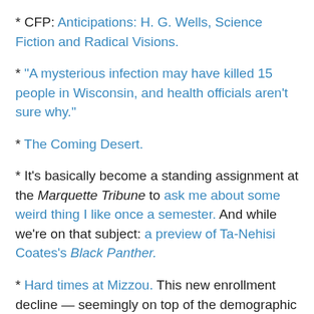* CFP: Anticipations: H. G. Wells, Science Fiction and Radical Visions.
* “A mysterious infection may have killed 15 people in Wisconsin, and health officials aren’t sure why.”
* The Coming Desert.
* It’s basically become a standing assignment at the Marquette Tribune to ask me about some weird thing I like once a semester. And while we’re on that subject: a preview of Ta-Nehisi Coates’s Black Panther.
* Hard times at Mizzou. This new enrollment decline — seemingly on top of the demographic dip nationwide — looks like a complete disaster for the troubled campus, which the administration has effortlessly managed to weaponize in pursuit of its own goals. Meanwhile: Melissa